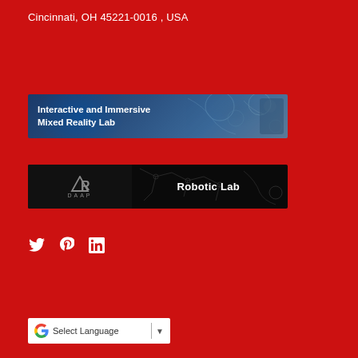Cincinnati, OH 45221-0016 , USA
[Figure (illustration): Banner for Interactive and Immersive Mixed Reality Lab with dark blue background]
[Figure (illustration): Banner for Robotic Lab with black background, AR/DAAP logo on left, robotic arm technical drawings]
Social media icons: Twitter, Pinterest, LinkedIn
[Figure (other): Google Translate Select Language widget with Google G logo and dropdown arrow]